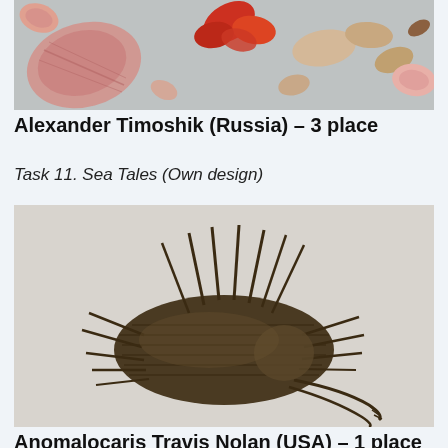[Figure (photo): Photo of sea shells and coral pieces arranged on a gray surface, featuring pink, red, and beige shells and stones.]
Alexander Timoshik (Russia) – 3 place
Task 11. Sea Tales (Own design)
[Figure (photo): Photo of an origami Anomalocaris model made from dark brown paper, showing a spiky prehistoric sea creature with multiple legs and claws.]
Anomalocaris Travis Nolan (USA) – 1 place